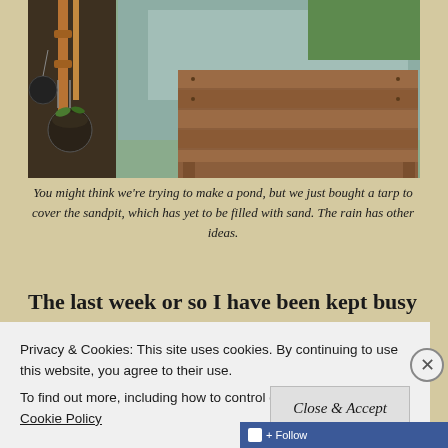[Figure (photo): Outdoor photo showing a wooden table/bench made of planks in a garden setting. A tarp is spread on the ground catching rainwater. On the left side there are decorative copper pipes and hanging plant pots with chains.]
You might think we're trying to make a pond, but we just bought a tarp to cover the sandpit, which has yet to be filled with sand. The rain has other ideas.
The last week or so I have been kept busy with
Privacy & Cookies: This site uses cookies. By continuing to use this website, you agree to their use.
To find out more, including how to control cookies, see here: Cookie Policy